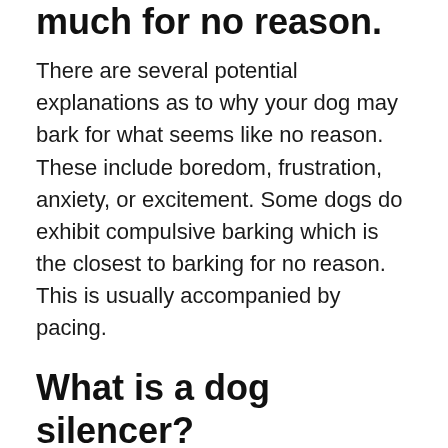much for no reason.
There are several potential explanations as to why your dog may bark for what seems like no reason. These include boredom, frustration, anxiety, or excitement. Some dogs do exhibit compulsive barking which is the closest to barking for no reason. This is usually accompanied by pacing.
What is a dog silencer?
The Dog Silencer MAX automatically detects barking. In response, the device blasts high-pitched sounds that only the dog can hear. This process is completely safe and humane. The sounds annoy the dog, but don’t harm him.